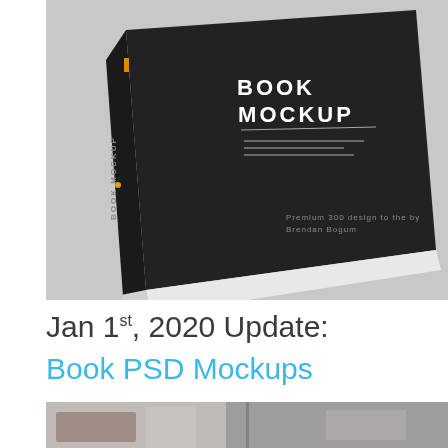[Figure (photo): A dark book mockup with 'BOOK MOCKUP' text on the cover, photographed at an angle on a gray background]
Jan 1st, 2020 Update:
Book PSD Mockups
[Figure (photo): Partial view of a second book mockup photo, cropped at bottom of page]